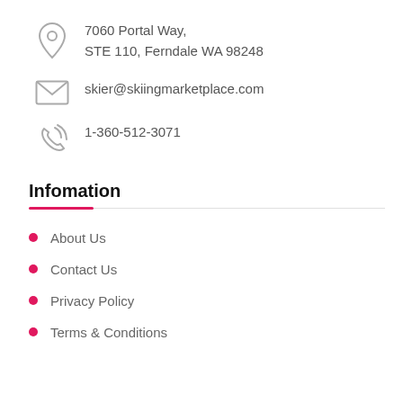7060 Portal Way,
STE 110, Ferndale WA 98248
skier@skiingmarketplace.com
1-360-512-3071
Infomation
About Us
Contact Us
Privacy Policy
Terms & Conditions